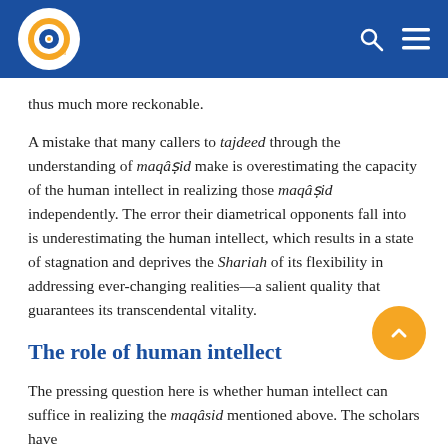[Site header with logo, search and menu icons]
thus much more reckonable.
A mistake that many callers to tajdeed through the understanding of maqâṣid make is overestimating the capacity of the human intellect in realizing those maqâṣid independently. The error their diametrical opponents fall into is underestimating the human intellect, which results in a state of stagnation and deprives the Shariah of its flexibility in addressing ever-changing realities—a salient quality that guarantees its transcendental vitality.
The role of human intellect
The pressing question here is whether human intellect can suffice in realizing the maqâsid mentioned above. The scholars have